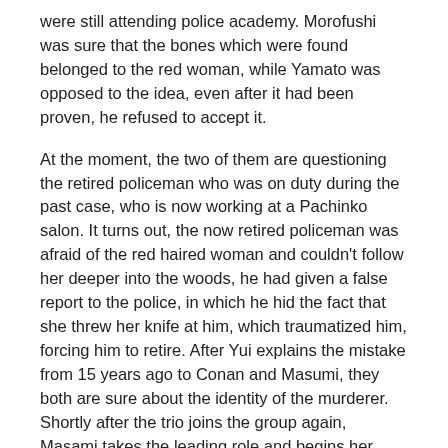were still attending police academy. Morofushi was sure that the bones which were found belonged to the red woman, while Yamato was opposed to the idea, even after it had been proven, he refused to accept it.
At the moment, the two of them are questioning the retired policeman who was on duty during the past case, who is now working at a Pachinko salon. It turns out, the now retired policeman was afraid of the red haired woman and couldn't follow her deeper into the woods, he had given a false report to the police, in which he hid the fact that she threw her knife at him, which traumatized him, forcing him to retire. After Yui explains the mistake from 15 years ago to Conan and Masumi, they both are sure about the identity of the murderer. Shortly after the trio joins the group again, Masami takes the leading role and begins her reasoning, revealing the culprit. The explains that Masaie's body was hid in the water even before the checking of the temperature took place and further explains the method the culprit used to create an alibi for himself/herself. Together with Conan's help, the trick how tomatoes have been hid under the bath water is revealed, as well as the culprit.